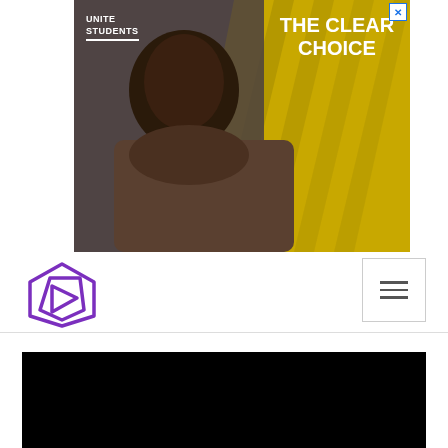[Figure (photo): Advertisement banner for Unite Students showing a young man smiling, with text 'UNITE STUDENTS' on left and 'THE CLEAR CHOICE' on right against a yellow/dark background. A close button (X) appears in the top-right corner.]
[Figure (logo): Purple geometric hexagonal logo (Prism/faceted shape) representing a website or platform logo, positioned in the upper-left of the navigation bar.]
[Figure (other): Hamburger menu button (three horizontal lines) in a square bordered box, positioned in the upper-right of the navigation bar.]
[Figure (other): Black rectangle representing an embedded video player area at the bottom of the page.]